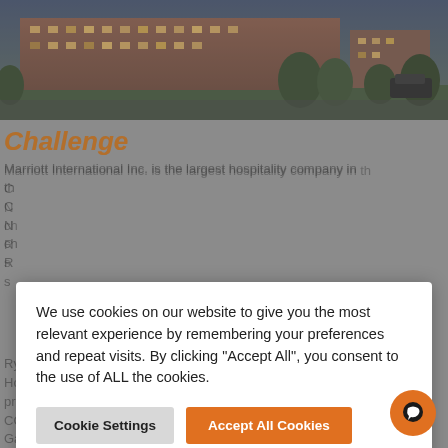[Figure (photo): Aerial/exterior photo of a large hotel or resort building at dusk, with brick facade and illuminated windows, surrounded by trees and a parking area.]
Challenge
Marriott International Inc. is the largest hospitality company in th...
Ryman Hospitality, the organization that owns Gaylord Brand Hotels, decided to embark on a risk assessment of their properties in 2017. The third-party assessors discovered that CCTV systems were lacking in all of the hotels, including at the Gaylord Opryland Resort. According to Greg Pezzo, Gaylord Opryland Resort and Attractions' Safety and Security Director, "The system consisted of old operating systems and cameras...
We use cookies on our website to give you the most relevant experience by remembering your preferences and repeat visits. By clicking “Accept All”, you consent to the use of ALL the cookies.
Cookie Settings
Accept All Cookies